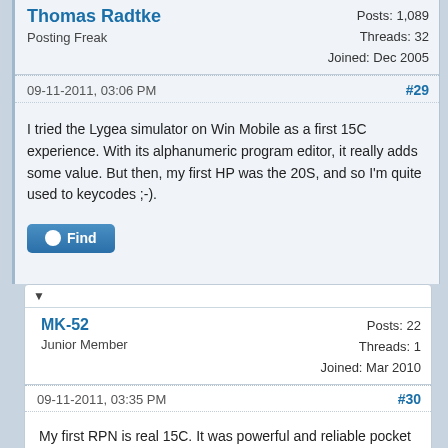Thomas Radtke
Posting Freak
Posts: 1,089
Threads: 32
Joined: Dec 2005
09-11-2011, 03:06 PM
#29
I tried the Lygea simulator on Win Mobile as a first 15C experience. With its alphanumeric program editor, it really adds some value. But then, my first HP was the 20S, and so I'm quite used to keycodes ;-).
Find
MK-52
Junior Member
Posts: 22
Threads: 1
Joined: Mar 2010
09-11-2011, 03:35 PM
#30
My first RPN is real 15C. It was powerful and reliable pocket calculator. Owner's Handbook and Advanced Functions Handbook were top notch. Unfortunately, my